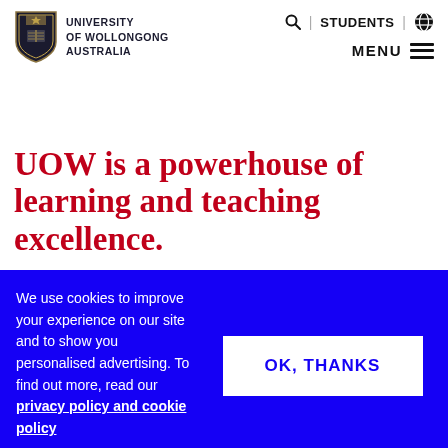[Figure (logo): University of Wollongong Australia shield logo with text]
🔍 | STUDENTS | 🌐 MENU ≡
UOW is a powerhouse of learning and teaching excellence.
We use cookies to improve your experience on our site and to show you personalised advertising. To find out more, read our privacy policy and cookie policy
OK, THANKS